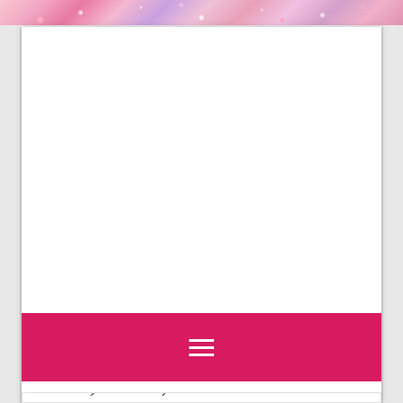[Figure (illustration): Decorative glittery pink and purple banner header strip at the top of the page]
[Figure (other): Large white advertisement/placeholder area in the center of the page within a bordered frame]
[Figure (other): Hot pink/magenta navigation bar with a white hamburger menu icon (three horizontal lines) centered on it]
Run, rabbit, run ...